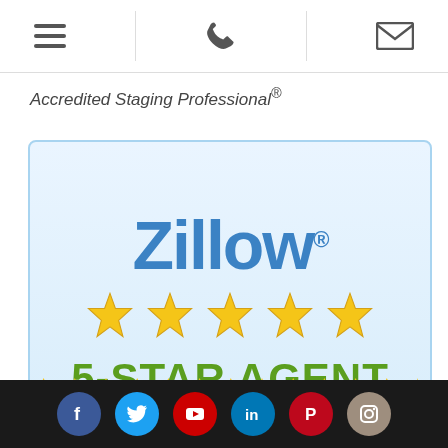Navigation bar with hamburger menu, phone, and email icons
Accredited Staging Professional®
[Figure (logo): Zillow 5-Star Agent badge: blue Zillow logo with registered trademark, five gold stars, and green '5-STAR AGENT' text on light blue gradient background with blue border]
Social media icons: Facebook, Twitter, YouTube, LinkedIn, Pinterest, Instagram